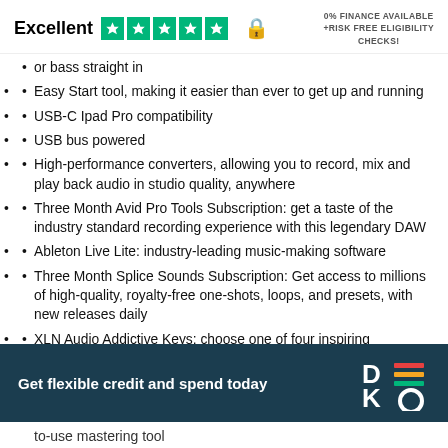Excellent ★★★★★  🔒  0% FINANCE AVAILABLE +RISK FREE ELIGIBILITY CHECKS!
or bass straight in
Easy Start tool, making it easier than ever to get up and running
USB-C Ipad Pro compatibility
USB bus powered
High-performance converters, allowing you to record, mix and play back audio in studio quality, anywhere
Three Month Avid Pro Tools Subscription: get a taste of the industry standard recording experience with this legendary DAW
Ableton Live Lite: industry-leading music-making software
Three Month Splice Sounds Subscription: Get access to millions of high-quality, royalty-free one-shots, loops, and presets, with new releases daily
XLN Audio Addictive Keys: choose one of four inspiring
Get flexible credit and spend today
to-use mastering tool